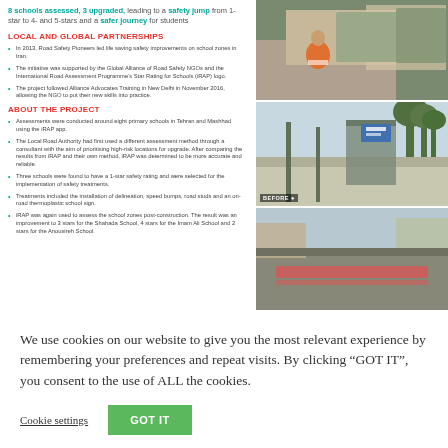8 schools assessed, 3 upgraded, leading to a safety jump from 1-star to 4- and 5-stars and a safer journey for students
LOCAL AND GLOBAL PARTNERSHIPS
In 2013, Road Safety Pioneers led life saving safety improvements on school zones in Iran.
The initiative was supported by the Global Alliance of Road Safety NGOs and the International Road Assessment Programme's Star Rating for Schools (iRAP) logo.
The project followed Alliance Advocates Training in New Delhi in November 2016, allowing the NGO to put their new skills into practice.
ABOUT THE PROJECT
Assessments were conducted around eight primary schools in Tehran and Mashhad using the iRAP app.
The Local Road Authority had first used a different assessment method through a consultant with the aim of prioritising high-risk locations for upgrade. After comparing the results from iRAP and their own method, iRAP was determined to be more accurate and reliable.
Three schools were found to have a 1-star safety rating and were selected for the implementation of safety treatments.
Treatments included the installation of delineation, speed bumps, road studs and an on-road thermoplastic school sign.
iRAP was again used to assess the school zones post-construction. The result was an improvement to 3 stars for the Shahada School, 4 stars for the Imam Ali School and 2 stars for the Anousireh School.
[Figure (photo): Man in orange high-visibility vest reviewing documents near a truck]
[Figure (photo): Street scene showing before state of school zone with gate and signs, labelled BEFORE]
[Figure (photo): Road scene showing after state of school zone with road markings]
We use cookies on our website to give you the most relevant experience by remembering your preferences and repeat visits. By clicking "GOT IT", you consent to the use of ALL the cookies.
Cookie settings
GOT IT